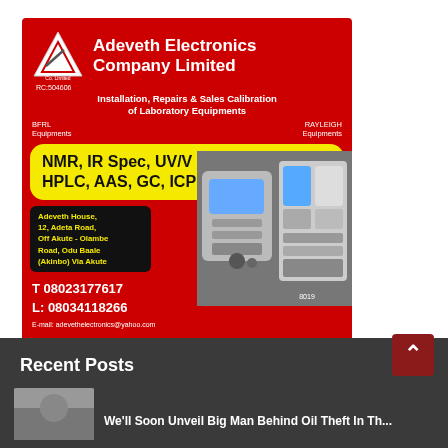[Figure (illustration): Advertisement for Adeveth Electronics Company Limited on a red background. Shows company logo (white triangle), company name in white bold text, RC:504606, services listed (Installation, Repairs & Sales Calibration of Laboratory Equipments), BFRL Equipments and RAYLEIGH Equipments brands, yellow rounded box with NMR, IR Spec, UV/V spec, HPLC, AAS, GC, ICP Analyti, address box (Adeveth House, 12, Adeta Road, Off Akute - Olambe Road, Odu Baale (Akinbo) Via Akute), telephone numbers T 08023177617, L: 08034118266, E-mail: adevethelectronics@yahoo.com, and images of laboratory equipment.]
Recent Posts
We'll Soon Unveil Big Man Behind Oil Theft In The...